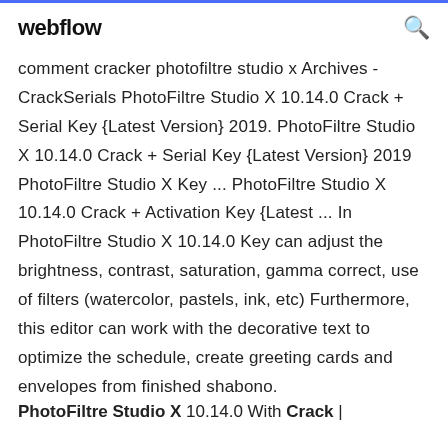webflow [search icon]
comment cracker photofiltre studio x Archives - CrackSerials PhotoFiltre Studio X 10.14.0 Crack + Serial Key {Latest Version} 2019. PhotoFiltre Studio X 10.14.0 Crack + Serial Key {Latest Version} 2019 PhotoFiltre Studio X Key ... PhotoFiltre Studio X 10.14.0 Crack + Activation Key {Latest ... In PhotoFiltre Studio X 10.14.0 Key can adjust the brightness, contrast, saturation, gamma correct, use of filters (watercolor, pastels, ink, etc) Furthermore, this editor can work with the decorative text to optimize the schedule, create greeting cards and envelopes from finished shabono.
PhotoFiltre Studio X 10.14.0 With Crack |